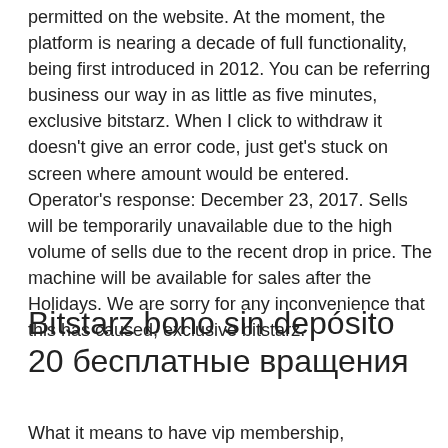permitted on the website. At the moment, the platform is nearing a decade of full functionality, being first introduced in 2012. You can be referring business our way in as little as five minutes, exclusive bitstarz. When I click to withdraw it doesn't give an error code, just get's stuck on screen where amount would be entered. Operator's response: December 23, 2017. Sells will be temporarily unavailable due to the high volume of sells due to the recent drop in price. The machine will be available for sales after the Holidays. We are sorry for any inconvenience that this has caused, exclusive bitstarz.
Bitstarz bono sin depósito 20 бесплатные вращения
What it means to have vip membership,